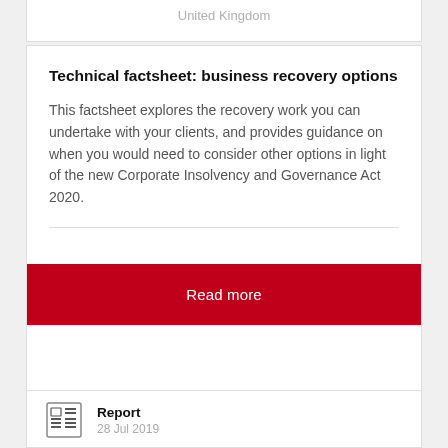United Kingdom
Technical factsheet: business recovery options
This factsheet explores the recovery work you can undertake with your clients, and provides guidance on when you would need to consider other options in light of the new Corporate Insolvency and Governance Act 2020.
Read more
Report
28 Jul 2019